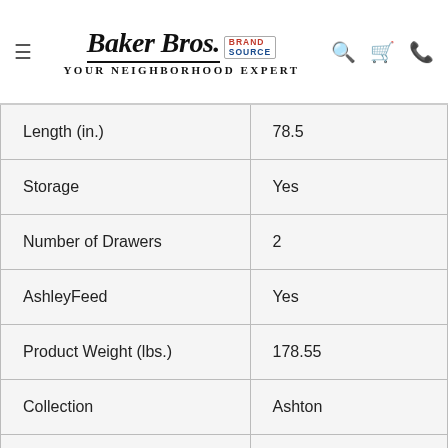Baker Bros. Brand Source — Your Neighborhood Expert
| Attribute | Value |
| --- | --- |
| Length (in.) | 78.5 |
| Storage | Yes |
| Number of Drawers | 2 |
| AshleyFeed | Yes |
| Product Weight (lbs.) | 178.55 |
| Collection | Ashton |
| Age Group | Young Adult |